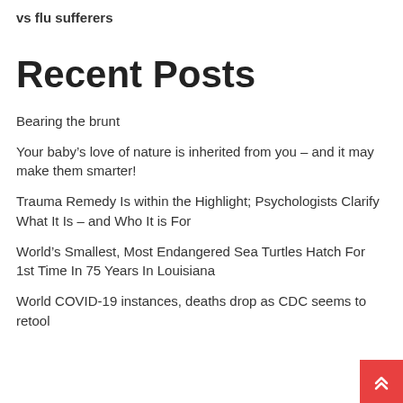vs flu sufferers
Recent Posts
Bearing the brunt
Your baby’s love of nature is inherited from you – and it may make them smarter!
Trauma Remedy Is within the Highlight; Psychologists Clarify What It Is – and Who It is For
World’s Smallest, Most Endangered Sea Turtles Hatch For 1st Time In 75 Years In Louisiana
World COVID-19 instances, deaths drop as CDC seems to retool